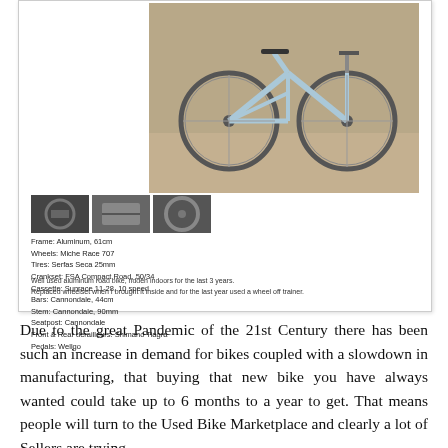[Figure (photo): Online marketplace listing for a used road bike. Shows a main photo of a white/silver road bicycle leaning against a wall, three thumbnail images below it, a list of bike specifications, and two lines of descriptive text.]
Due to the great Pandemic of the 21st Century there has been such an increase in demand for bikes coupled with a slowdown in manufacturing, that buying that new bike you have always wanted could take up to 6 months to a year to get. That means people will turn to the Used Bike Marketplace and clearly a lot of Sellers are trying